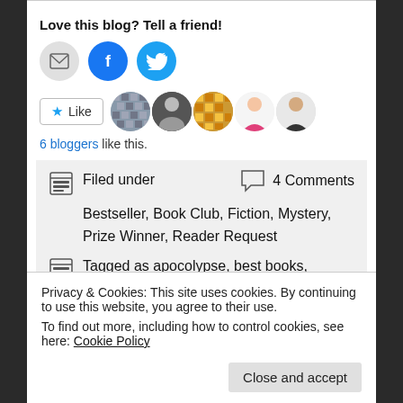Love this blog? Tell a friend!
[Figure (illustration): Three share icons: email (grey circle), Facebook (blue circle with f logo), Twitter (blue circle with bird logo)]
[Figure (illustration): Like button with star icon and 5 blogger avatars]
6 bloggers like this.
Filed under
Bestseller, Book Club, Fiction, Mystery, Prize Winner, Reader Request
4 Comments
Tagged as apocolypse, best books, cottage books, cottage reading, emily st john mandel, end of the
Privacy & Cookies: This site uses cookies. By continuing to use this website, you agree to their use.
To find out more, including how to control cookies, see here: Cookie Policy
Close and accept